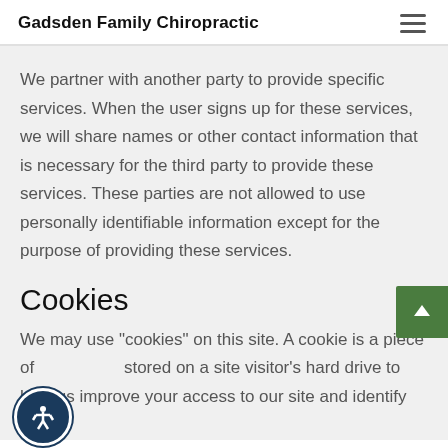Gadsden Family Chiropractic
We partner with another party to provide specific services. When the user signs up for these services, we will share names or other contact information that is necessary for the third party to provide these services. These parties are not allowed to use personally identifiable information except for the purpose of providing these services.
Cookies
We may use "cookies" on this site. A cookie is a piece of stored on a site visitor's hard drive to help us improve your access to our site and identify repeat